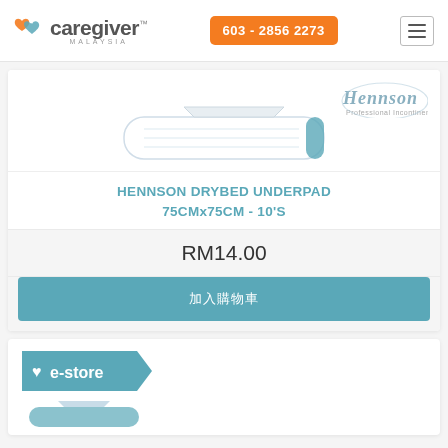care giver MALAYSIA | 603 - 2856 2273
[Figure (photo): Hennson Drybed Underpad product image with Hennson brand logo]
HENNSON DRYBED UNDERPAD 75CMx75CM - 10'S
RM14.00
加入购物车 (Add to Cart button)
[Figure (logo): e-store badge/logo in teal color with heart icon]